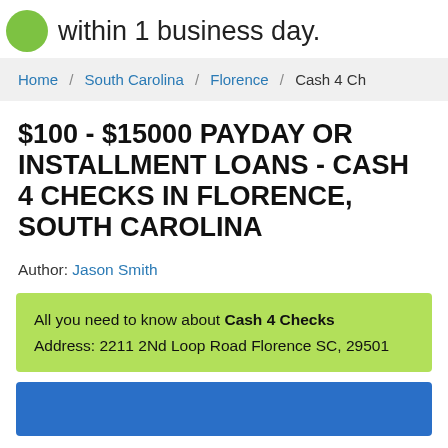within 1 business day.
Home / South Carolina / Florence / Cash 4 Ch
$100 - $15000 PAYDAY OR INSTALLMENT LOANS - CASH 4 CHECKS IN FLORENCE, SOUTH CAROLINA
Author: Jason Smith
All you need to know about Cash 4 Checks
Address: 2211 2Nd Loop Road Florence SC, 29501
[Figure (other): Blue banner section at bottom of page]